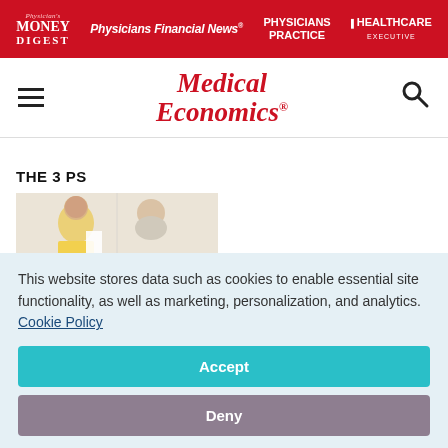Physician's Money Digest | Physicians Financial News | Physicians Practice | Healthcare Executive
[Figure (logo): Medical Economics logo with hamburger menu and search icon]
THE 3 PS
[Figure (photo): Doctor in yellow shirt with patient]
This website stores data such as cookies to enable essential site functionality, as well as marketing, personalization, and analytics. Cookie Policy
Accept
Deny